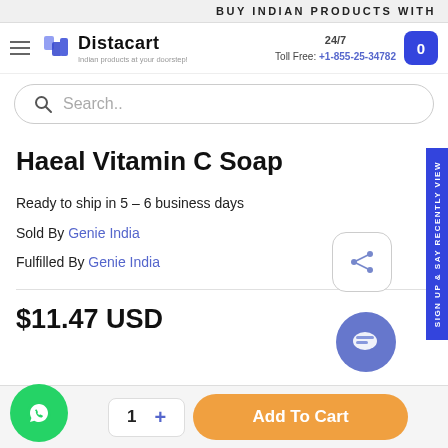BUY INDIAN PRODUCTS WITH
[Figure (logo): Distacart logo with tagline 'Indian products at your doorstep!']
24/7 Toll Free: +1-855-25-34782
Search..
Haeal Vitamin C Soap
Ready to ship in 5 - 6 business days
Sold By Genie India
Fulfilled By Genie India
$11.47 USD
1 +
Add To Cart